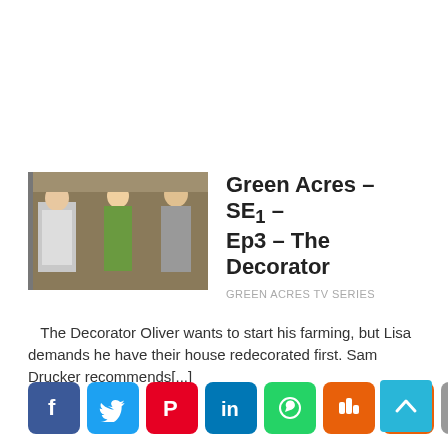[Figure (photo): Scene from Green Acres TV show with three people in a kitchen/store setting]
Green Acres – SE1 – Ep3 – The Decorator
GREEN ACRES TV SERIES
The Decorator Oliver wants to start his farming, but Lisa demands he have their house redecorated first. Sam Drucker recommends[...]
[Figure (infographic): Social sharing icons: Facebook, Twitter, Pinterest, LinkedIn, WhatsApp, Mix, Flipboard, More]